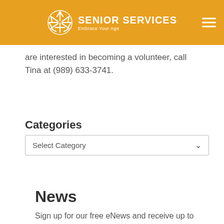SENIOR SERVICES Embrace Your Age
are interested in becoming a volunteer, call Tina at (989) 633-3741.
Categories
Select Category
News
Sign up for our free eNews and receive up to